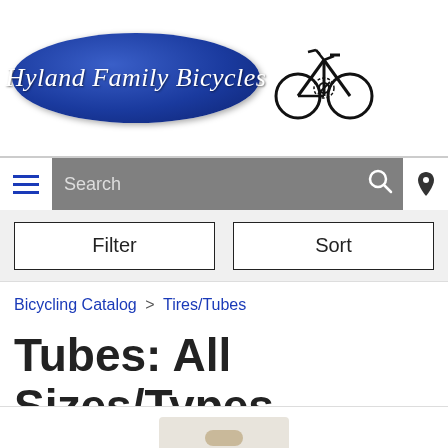[Figure (logo): Hyland Family Bicycles logo: blue oval with italic white text and a bicycle icon to the right]
Search navigation bar with hamburger menu, search box, and location icon
Filter  Sort
Bicycling Catalog > Tires/Tubes
Tubes: All Sizes/Types
[Figure (photo): Partial product image at bottom of page, appears to be a bicycle tube package]